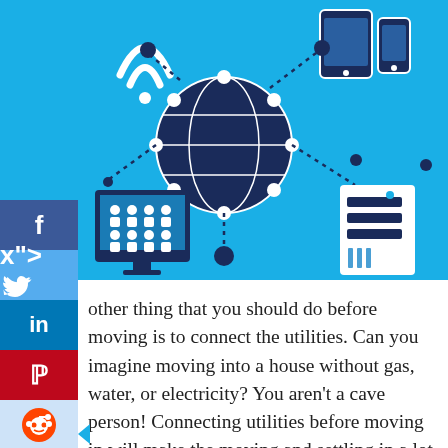[Figure (illustration): Blue banner with network/IoT icons: wifi symbol, globe with network connections, tablet and phone, desktop monitor with people icons, server/router unit, all connected by dotted lines on a bright blue background.]
other thing that you should do before moving is to connect the utilities. Can you imagine moving into a house without gas, water, or electricity? You aren't a cave person! Connecting utilities before moving in will make the moving and settling in a lot easier. You should